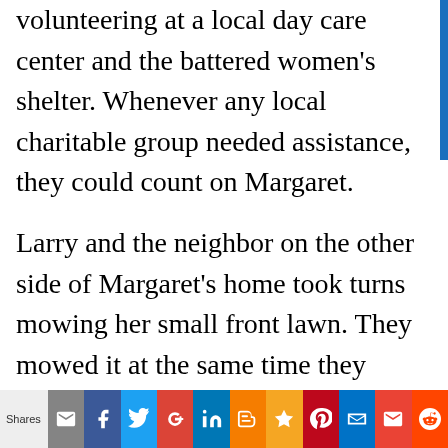volunteering at a local day care center and the battered women's shelter. Whenever any local charitable group needed assistance, they could count on Margaret.
Larry and the neighbor on the other side of Margaret's home took turns mowing her small front lawn. They mowed it at the same time they mowed their own front lawns. The rear yard had a very large concrete patio, a few fruit trees, and a small vegetable garden. Larry and his
Shares [email] [facebook] [twitter] [google+] [linkedin] [blogger] [bookmark] [pinterest] [outlook] [gmail] [reddit]